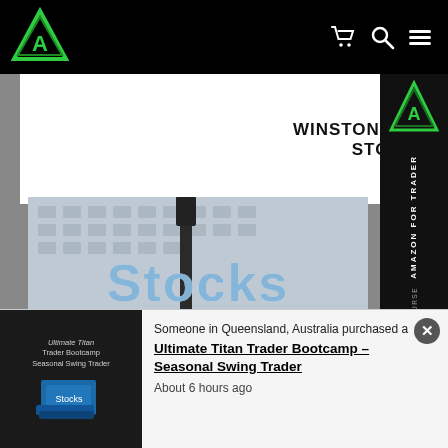Navigation bar with logo and menu icons
WINSTON J. DUNCAN STOCKS
[Figure (photo): Book cover for 'Stocks' by Winston J. Duncan, showing a photo of Broadway and Wall Street signs in New York City with 'Stocks' overlaid in large blue text]
Someone in Queensland, Australia purchased a
Ultimate Titan Trader Bootcamp – Seasonal Swing Trader
About 6 hours ago